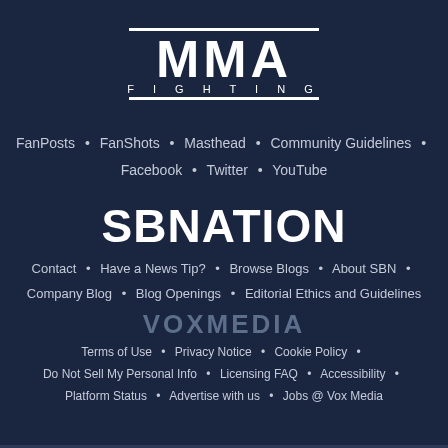[Figure (logo): MMA Fighting logo with two horizontal lines above and below, large MMA text and FIGHTING subtitle]
FanPosts • FanShots • Masthead • Community Guidelines • Facebook • Twitter • YouTube
[Figure (logo): SB Nation logo in large bold white uppercase text]
Contact • Have a News Tip? • Browse Blogs • About SBN • Company Blog • Blog Openings • Editorial Ethics and Guidelines
[Figure (logo): Vox Media logo in large bold gray uppercase text]
Terms of Use • Privacy Notice • Cookie Policy • Do Not Sell My Personal Info • Licensing FAQ • Accessibility • Platform Status • Advertise with us • Jobs @ Vox Media